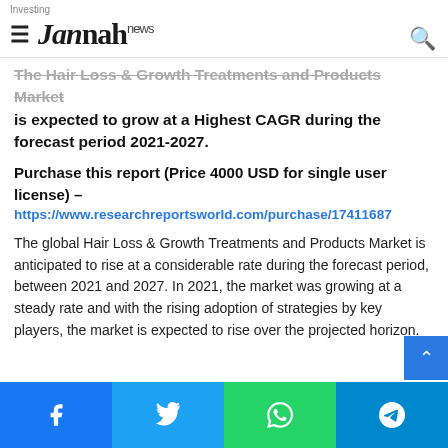Jannah news
The Hair Loss & Growth Treatments and Products Market is expected to grow at a Highest CAGR during the forecast period 2021-2027.
Purchase this report (Price 4000 USD for single user license) – https://www.researchreportsworld.com/purchase/17411687
The global Hair Loss & Growth Treatments and Products Market is anticipated to rise at a considerable rate during the forecast period, between 2021 and 2027. In 2021, the market was growing at a steady rate and with the rising adoption of strategies by key players, the market is expected to rise over the projected horizon.
Share buttons: Facebook, Twitter, WhatsApp, Telegram